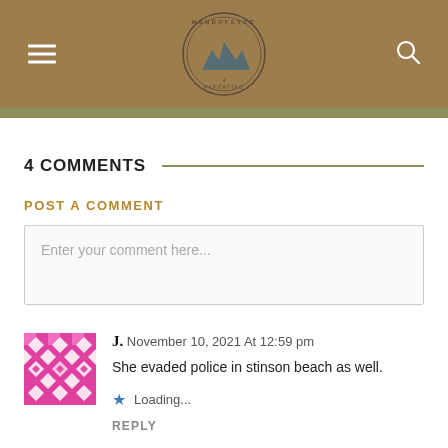[Figure (logo): MendoFever Reporting circular logo in center of brown header bar, with hamburger menu icon on left and search icon on right]
4 COMMENTS
POST A COMMENT
Enter your comment here...
J. November 10, 2021 At 12:59 pm
She evaded police in stinson beach as well.
★ Loading...
REPLY